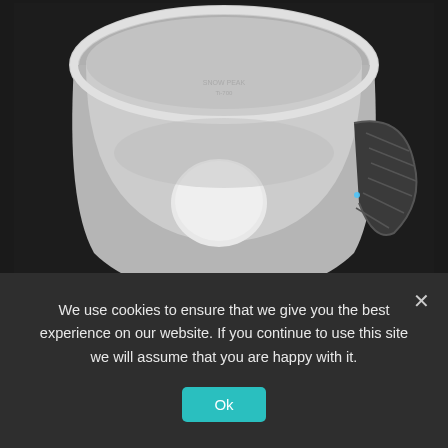[Figure (photo): Top-down view of an empty white titanium camping mug/pot with a dark handle, photographed on a dark background. The interior of the cup is light gray and there is a circular white disc visible at the bottom of the cup interior.]
There are few better things than a hot meal after a long day of backpacking through the woods or sitting on the side of a
We use cookies to ensure that we give you the best experience on our website. If you continue to use this site we will assume that you are happy with it.